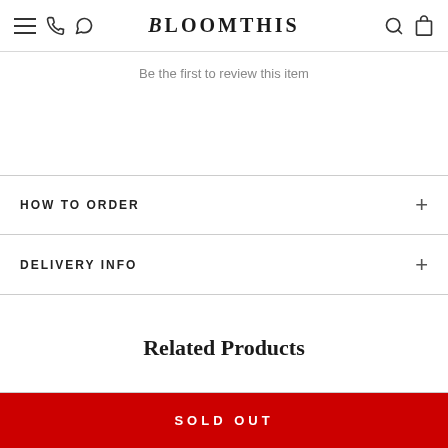BloomThis
Be the first to review this item
HOW TO ORDER
DELIVERY INFO
Related Products
SOLD OUT